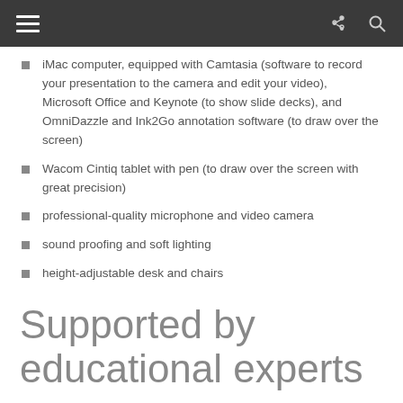iMac computer, equipped with Camtasia (software to record your presentation to the camera and edit your video), Microsoft Office and Keynote (to show slide decks), and OmniDazzle and Ink2Go annotation software (to draw over the screen)
Wacom Cintiq tablet with pen (to draw over the screen with great precision)
professional-quality microphone and video camera
sound proofing and soft lighting
height-adjustable desk and chairs
Supported by educational experts